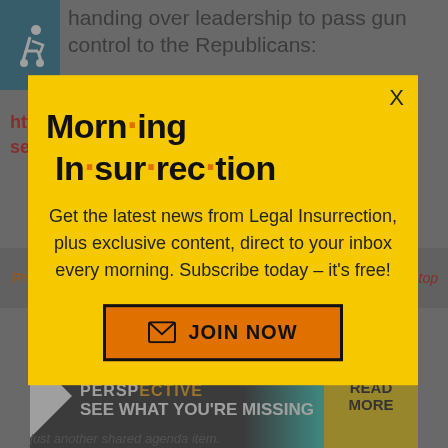handing over leadership to pass gun control to the Republicans:
https://www.breitbart.com/politics/202 sen-john-cornyn-wants-more-time-
[Figure (screenshot): Modal popup with yellow background for 'Morning Insurrection' newsletter subscription. Contains title 'Morn·ing In·sur·rec·tion', body text 'Get the latest news from Legal Insurrection, plus exclusive content, direct to your inbox every morning. Subscribe today – it's free!', and a JOIN NOW button with envelope icon. X close button in top right.]
Phil. | June 7, 2 at 12:09 pm
Back to top
[Figure (screenshot): Advertisement banner reading: THE PERSPECTIVE SEE WHAT YOU'RE MISSING READ MORE]
just another shared agenda item.